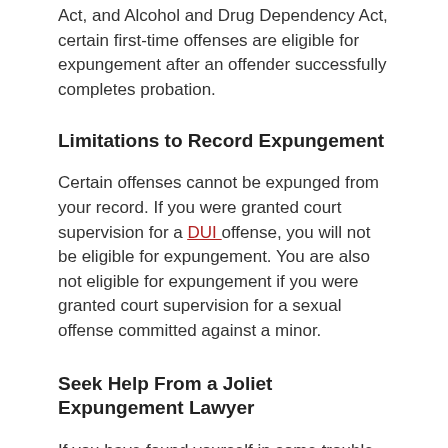Act, and Alcohol and Drug Dependency Act, certain first-time offenses are eligible for expungement after an offender successfully completes probation.
Limitations to Record Expungement
Certain offenses cannot be expunged from your record. If you were granted court supervision for a DUI offense, you will not be eligible for expungement. You are also not eligible for expungement if you were granted court supervision for a sexual offense committed against a minor.
Seek Help From a Joliet Expungement Lawyer
If you have found yourself in some trouble with the law, you know how it can affect others' perceptions of you. If you have a criminal record but have not been convicted of a crime, or if you want to get a fresh start after paying